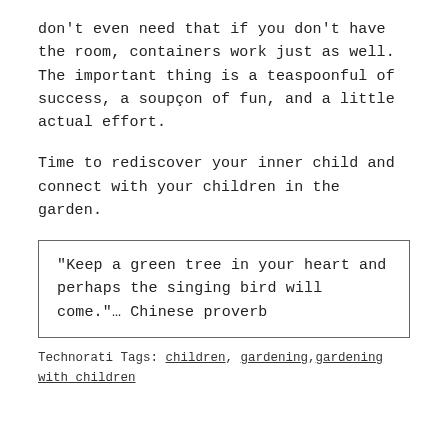don't even need that if you don't have the room, containers work just as well. The important thing is a teaspoonful of success, a soupçon of fun, and a little actual effort.
Time to rediscover your inner child and connect with your children in the garden.
“Keep a green tree in your heart and perhaps the singing bird will come.”… Chinese proverb
Technorati Tags: children, gardening, gardening with children